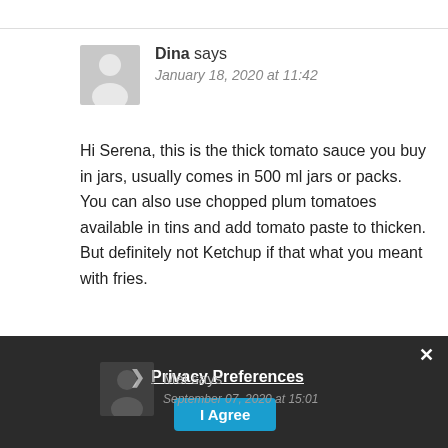Dina says
January 18, 2020 at 11:42
Hi Serena, this is the thick tomato sauce you buy in jars, usually comes in 500 ml jars or packs. You can also use chopped plum tomatoes available in tins and add tomato paste to thicken. But definitely not Ketchup if that what you meant with fries.
Reply
Privacy Preferences
I Agree
Mel says
September 07, 2020 at 15:01